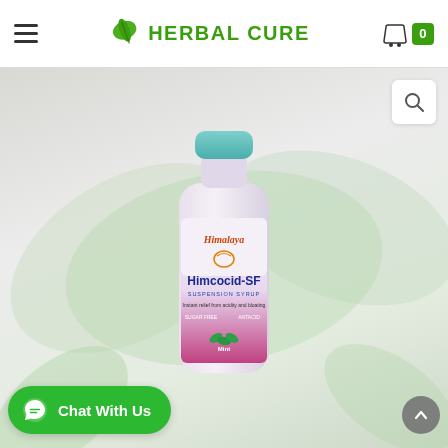HERBAL CURE — Navigation header with hamburger menu, logo, and cart (0 items)
[Figure (photo): Himalaya Himcocid-SF antacid suspension bottle (mint flavour, sugar-free) shown on a leafy green background. Product label reads: Himalaya Himcocid-SF Suspension Syrup, Instant relief from acidity and bloating, Sugar Free, Mint.]
Chat With Us